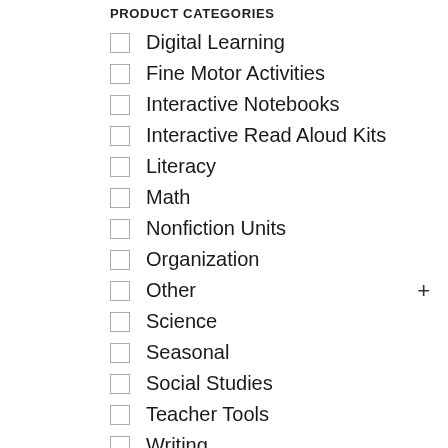PRODUCT CATEGORIES
Digital Learning
Fine Motor Activities
Interactive Notebooks
Interactive Read Aloud Kits
Literacy
Math
Nonfiction Units
Organization
Other
Science
Seasonal
Social Studies
Teacher Tools
Writing